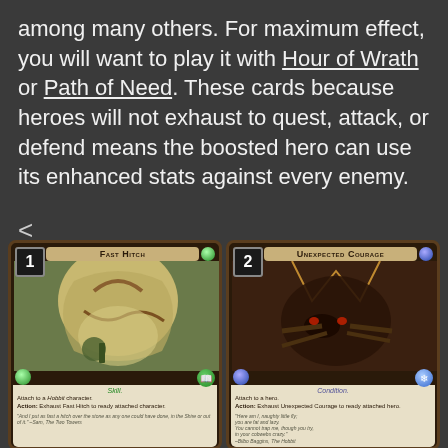among many others. For maximum effect, you will want to play it with Hour of Wrath or Path of Need. These cards because heroes will not exhaust to quest, attack, or defend means the boosted hero can use its enhanced stats against every enemy.
<
[Figure (photo): Two game cards side by side: Card 1 labeled 'Fast Hitch' - a Skill card showing a Hobbit with rope artwork, with card text about attaching to a Hobbit character and readying it. Card 2 labeled 'Unexpected Courage' - a Condition card showing a spider/creature artwork, with card text about readying attached hero.]